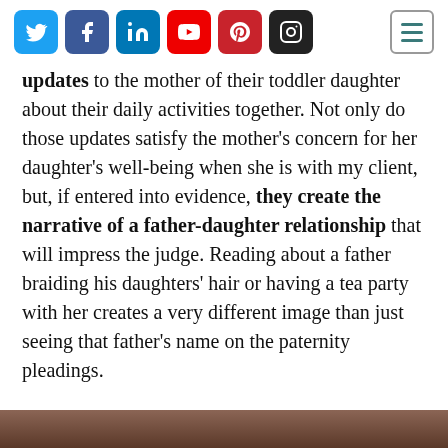Social media icons: Twitter, Facebook, LinkedIn, YouTube, Pinterest, Instagram; Hamburger menu
updates to the mother of their toddler daughter about their daily activities together. Not only do those updates satisfy the mother's concern for her daughter's well-being when she is with my client, but, if entered into evidence, they create the narrative of a father-daughter relationship that will impress the judge. Reading about a father braiding his daughters' hair or having a tea party with her creates a very different image than just seeing that father's name on the paternity pleadings.
[Figure (photo): Bottom strip image, partially visible, appears to show a person]